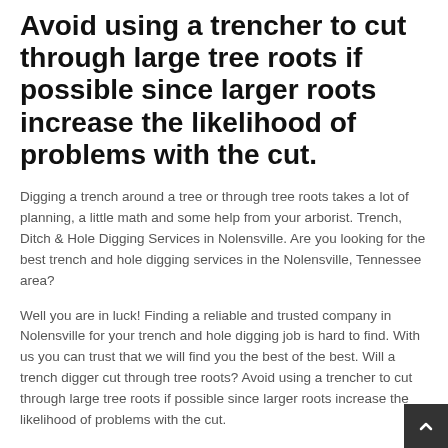Avoid using a trencher to cut through large tree roots if possible since larger roots increase the likelihood of problems with the cut.
Digging a trench around a tree or through tree roots takes a lot of planning, a little math and some help from your arborist. Trench, Ditch & Hole Digging Services in Nolensville. Are you looking for the best trench and hole digging services in the Nolensville, Tennessee area?
Well you are in luck! Finding a reliable and trusted company in Nolensville for your trench and hole digging job is hard to find. With us you can trust that we will find you the best of the best. Will a trench digger cut through tree roots? Avoid using a trencher to cut through large tree roots if possible since larger roots increase the likelihood of problems with the cut.
Although a trencher can be used to cut through roots, it was designed for creating trenches in soil and may not be able to handle large roots.